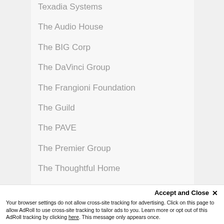Texadia Systems
The Audio House
The BIG Corp
The DaVinci Group
The Frangioni Foundation
The Guild
The PAVE
The Premier Group
The Thoughtful Home
TheCoTeam
Theatrical Lighting
Theo Tsavoussis
Tim Albright
Tim Bigoness
Tina Baker
Accept and Close ✕
Your browser settings do not allow cross-site tracking for advertising. Click on this page to allow AdRoll to use cross-site tracking to tailor ads to you. Learn more or opt out of this AdRoll tracking by clicking here. This message only appears once.